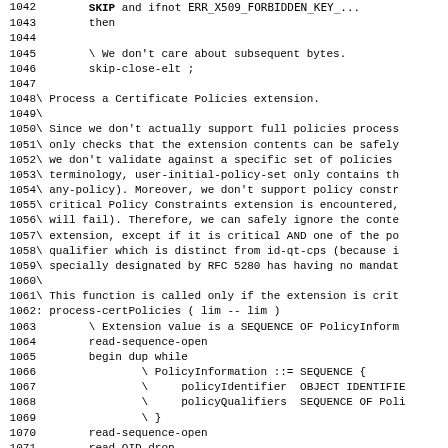Source code listing, lines 1042-1074, assembly/Forth-like language for certificate policy processing